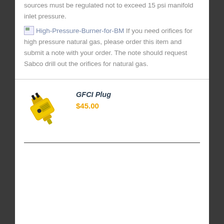sources must be regulated not to exceed 15 psi manifold inlet pressure.
[High-Pressure-Burner-for-BM] If you need orifices for high pressure natural gas, please order this item and submit a note with your order. The note should request Sabco drill out the orifices for natural gas.
GFCI Plug
$45.00
[Figure (photo): Yellow GFCI plug device, a compact yellow electrical safety plug]